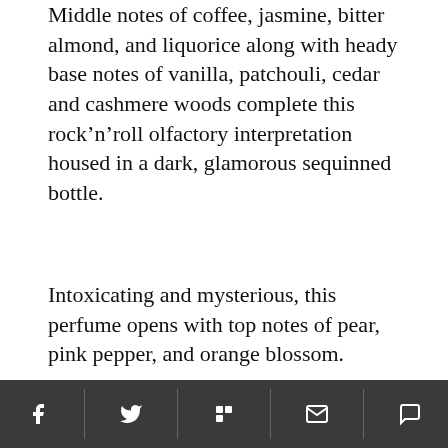Middle notes of coffee, jasmine, bitter almond, and liquorice along with heady base notes of vanilla, patchouli, cedar and cashmere woods complete this rock'n'roll olfactory interpretation housed in a dark, glamorous sequinned bottle.
Intoxicating and mysterious, this perfume opens with top notes of pear, pink pepper, and orange blossom.
[Figure (photo): YSL Black Opium perfume bottle — dark sequinned rectangular bottle with black ribbed cap and dome-shaped topper, YvesSaintLaurent branding on neck, partially showing BLACK label on front oval]
Social share bar with Facebook, Twitter, Flipboard, Email, and Comment icons